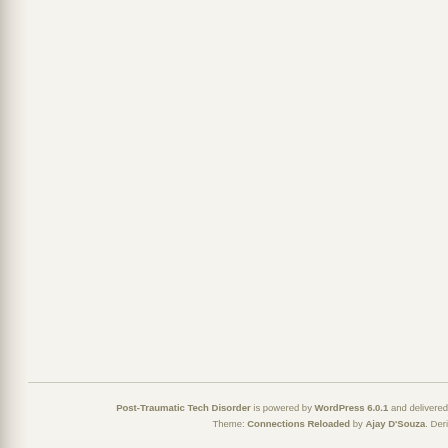Post-Traumatic Tech Disorder is powered by WordPress 6.0.1 and delivered. Theme: Connections Reloaded by Ajay D'Souza. Deri